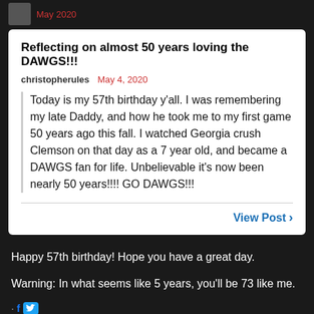May 2020
Reflecting on almost 50 years loving the DAWGS!!!
christopherules  May 4, 2020
Today is my 57th birthday y'all. I was remembering my late Daddy, and how he took me to my first game 50 years ago this fall. I watched Georgia crush Clemson on that day as a 7 year old, and became a DAWGS fan for life. Unbelievable it's now been nearly 50 years!!!! GO DAWGS!!!
View Post
Happy 57th birthday! Hope you have a great day.
Warning: In what seems like 5 years, you'll be 73 like me.
ghostofuga1
May 2020